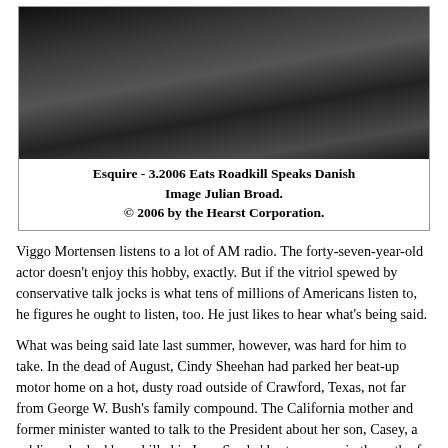[Figure (photo): Black and white photograph of a person, partially visible, dark tones]
Esquire - 3.2006 Eats Roadkill Speaks Danish Image Julian Broad. © 2006 by the Hearst Corporation.
Viggo Mortensen listens to a lot of AM radio. The forty-seven-year-old actor doesn't enjoy this hobby, exactly. But if the vitriol spewed by conservative talk jocks is what tens of millions of Americans listen to, he figures he ought to listen, too. He just likes to hear what's being said.
What was being said late last summer, however, was hard for him to take. In the dead of August, Cindy Sheehan had parked her beat-up motor home on a hot, dusty road outside of Crawford, Texas, not far from George W. Bush's family compound. The California mother and former minister wanted to talk to the President about her son, Casey, a soldier who had been killed in Iraq. So she'd set up camp in the path of Bush's motorcade and vowed to wait him out.